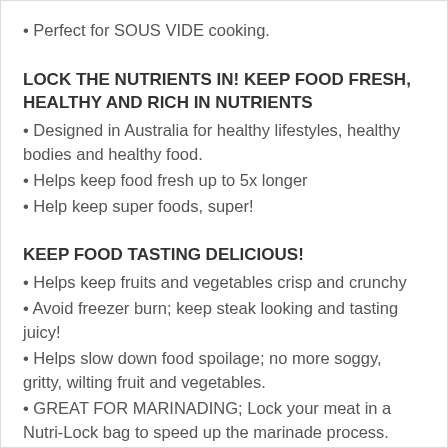• Perfect for SOUS VIDE cooking.
LOCK THE NUTRIENTS IN! KEEP FOOD FRESH, HEALTHY AND RICH IN NUTRIENTS
• Designed in Australia for healthy lifestyles, healthy bodies and healthy food.
• Helps keep food fresh up to 5x longer
• Help keep super foods, super!
KEEP FOOD TASTING DELICIOUS!
• Helps keep fruits and vegetables crisp and crunchy
• Avoid freezer burn; keep steak looking and tasting juicy!
• Helps slow down food spoilage; no more soggy, gritty, wilting fruit and vegetables.
• GREAT FOR MARINADING; Lock your meat in a Nutri-Lock bag to speed up the marinade process.
• AND